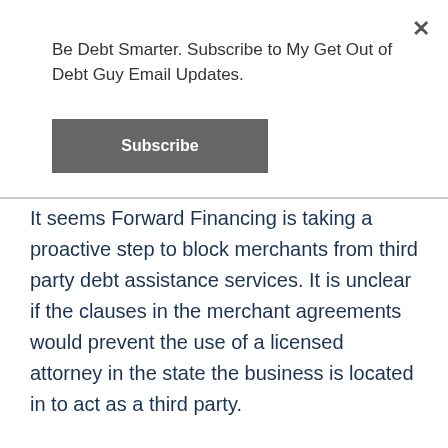Be Debt Smarter. Subscribe to My Get Out of Debt Guy Email Updates.
Subscribe
It seems Forward Financing is taking a proactive step to block merchants from third party debt assistance services. It is unclear if the clauses in the merchant agreements would prevent the use of a licensed attorney in the state the business is located in to act as a third party.
But to even amp up the resistance of business debt settlement companies